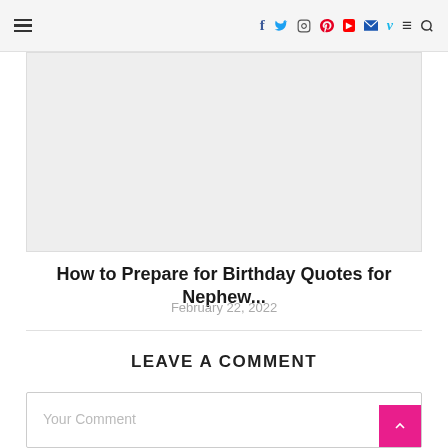☰  f  🐦  ◻  ●  ▶  ✉  V  ≡  🔍
[Figure (other): Gray placeholder image area for an article thumbnail]
How to Prepare for Birthday Quotes for Nephew...
February 22, 2022
LEAVE A COMMENT
Your Comment